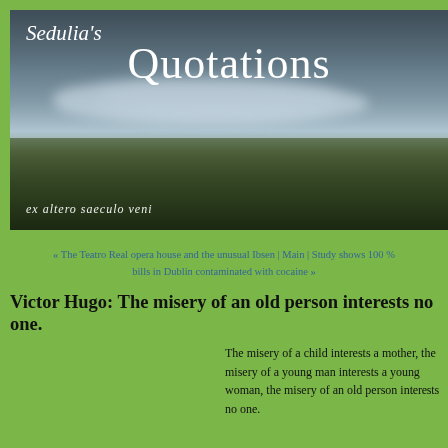[Figure (photo): Banner header image showing a landscape with dark sky, clouds, and green fields. Text overlay reads 'Sedulia's Quotations' and Latin text 'ex altero saeculo veni' at the bottom.]
Sedulia's Quotations
« The Teatro Real opera house and the unusual Ibsen | Main | Study shows 100 % bills in Dublin contaminated with cocaine »
Victor Hugo: The misery of an old person interests no one.
The misery of a child interests a mother, the misery of a young man interests a young woman, the misery of an old person interests no one.